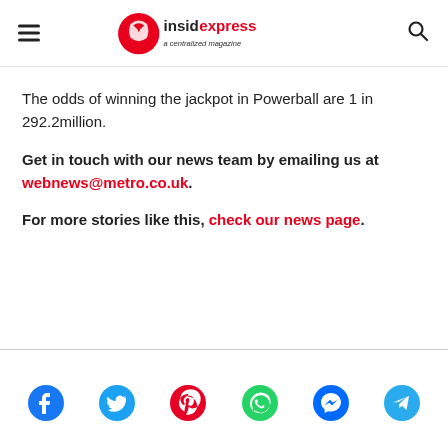insidexpress - a centralized magazine
The odds of winning the jackpot in Powerball are 1 in 292.2million.
Get in touch with our news team by emailing us at webnews@metro.co.uk.
For more stories like this, check our news page.
[Figure (other): Social media share icons: Facebook, Twitter, Pinterest, WhatsApp, Messenger, Telegram]